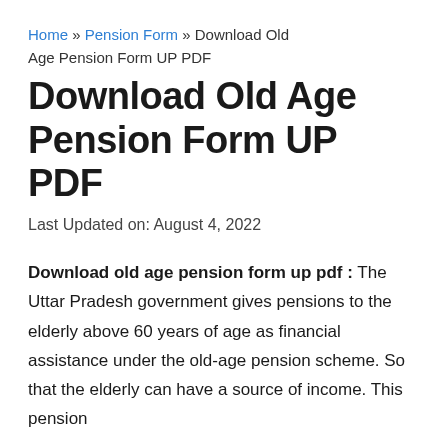Home » Pension Form » Download Old Age Pension Form UP PDF
Download Old Age Pension Form UP PDF
Last Updated on: August 4, 2022
Download old age pension form up pdf : The Uttar Pradesh government gives pensions to the elderly above 60 years of age as financial assistance under the old-age pension scheme. So that the elderly can have a source of income. This pension